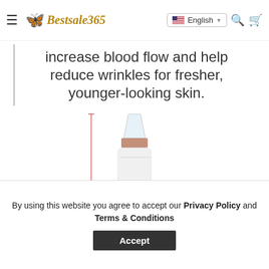Bestsale365 - English language selector, search, and cart icons
increase blood flow and help reduce wrinkles for fresher, younger-looking skin.
[Figure (photo): A white handheld skincare device (blackhead remover/microdermabrasion tool) with a clear cone-shaped tip and rose gold band, a black base with controls, shown with a vertical measurement indicator showing 6.7" / 17cm]
By using this website you agree to accept our Privacy Policy and Terms & Conditions
Accept